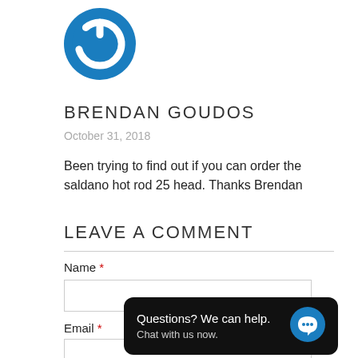[Figure (logo): Blue circular power button logo]
BRENDAN GOUDOS
October 31, 2018
Been trying to find out if you can order the saldano hot rod 25 head. Thanks Brendan
LEAVE A COMMENT
Name *
Email *
Questions? We can help. Chat with us now.